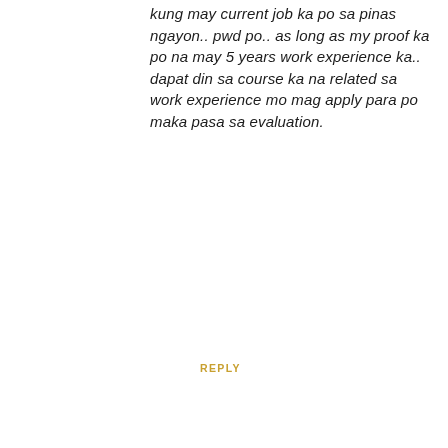kung may current job ka po sa pinas ngayon.. pwd po.. as long as my proof ka po na may 5 years work experience ka.. dapat din sa course ka na related sa work experience mo mag apply para po maka pasa sa evaluation.
REPLY
Enter Comment
RECOMMENDED
[Figure (photo): Outdoor photo showing trees and a brick building]